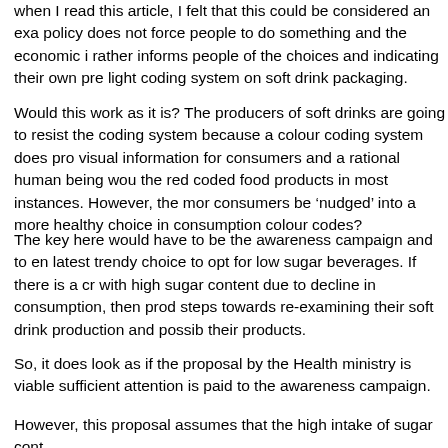when I read this article, I felt that this could be considered an example of a policy does not force people to do something and the economic incentive rather informs people of the choices and indicating their own preference - a traffic light coding system on soft drink packaging.
Would this work as it is? The producers of soft drinks are going to resist the coding system because a colour coding system does provide visual information for consumers and a rational human being would avoid the red coded food products in most instances. However, the more consumers be 'nudged' into a more healthy choice in consumption through colour codes?
The key here would have to be the awareness campaign and to ensure the latest trendy choice to opt for low sugar beverages. If there is a cutback with high sugar content due to decline in consumption, then producers take steps towards re-examining their soft drink production and possibly reformulate their products.
So, it does look as if the proposal by the Health ministry is viable if sufficient attention is paid to the awareness campaign.
However, this proposal assumes that the high intake of sugar cont